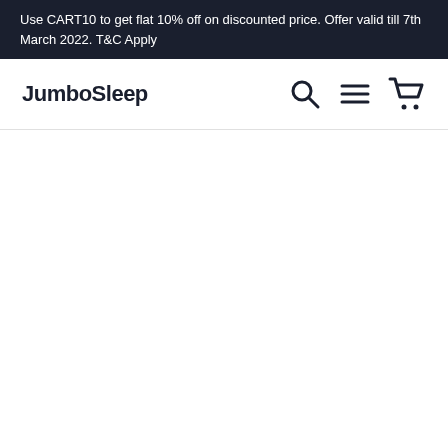Use CART10 to get flat 10% off on discounted price. Offer valid till 7th March 2022. T&C Apply
JumboSleep
[Figure (other): Navigation icons: search (magnifying glass), hamburger menu, and shopping cart]